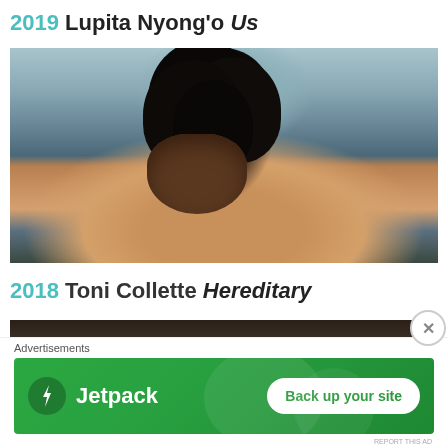2019 Lupita Nyong'o Us
[Figure (photo): Movie still from Us (2019) showing Lupita Nyong'o's character looking upward, wearing a dirty tan dress, outdoors with trees in background]
2018 Toni Collette Hereditary
[Figure (photo): Partial movie still from Hereditary (2018), cropped at top of frame showing dark shadowy scene]
Advertisements
[Figure (other): Jetpack advertisement banner with green background showing Jetpack logo and 'Back up your site' button]